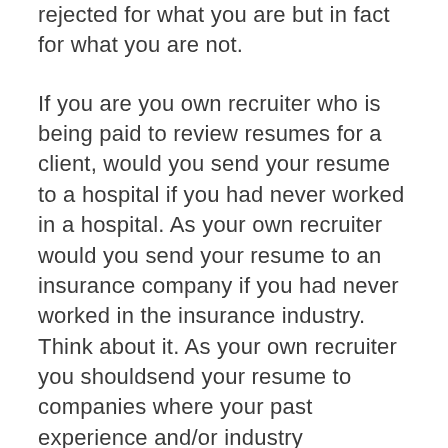rejected for what you are but in fact for what you are not.
If you are you own recruiter who is being paid to review resumes for a client, would you send your resume to a hospital if you had never worked in a hospital. As your own recruiter would you send your resume to an insurance company if you had never worked in the insurance industry. Think about it. As your own recruiter you shouldsend your resume to companies where your past experience and/or industry experience will mean something to that company that will cause them